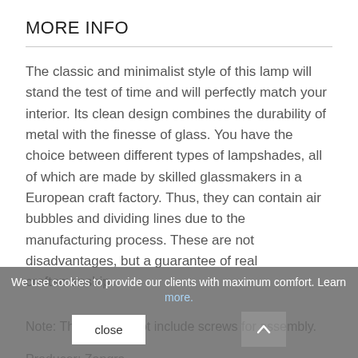MORE INFO
The classic and minimalist style of this lamp will stand the test of time and will perfectly match your interior. Its clean design combines the durability of metal with the finesse of glass. You have the choice between different types of lampshades, all of which are made by skilled glassmakers in a European craft factory. Thus, they can contain air bubbles and dividing lines due to the manufacturing process. These are not disadvantages, but a guarantee of real craftsmanship.
Note: The kit does not include screws for assembly.
Producer: Zangra
We use cookies to provide our clients with maximum comfort. Learn more.